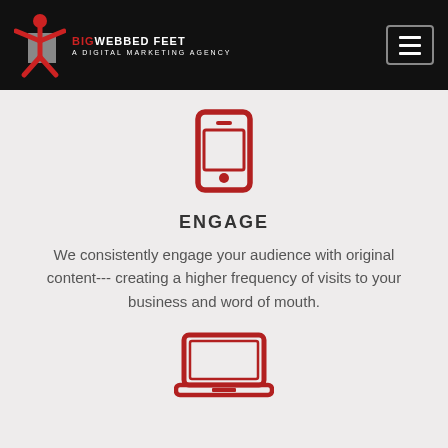[Figure (logo): Big Webbed Feet logo - a digital marketing agency with red and grey mascot figure and text]
[Figure (illustration): Hamburger menu button icon (three horizontal lines) in a rounded rectangle border]
[Figure (illustration): Red smartphone/mobile phone icon outline]
ENGAGE
We consistently engage your audience with original content--- creating a higher frequency of visits to your business and word of mouth.
[Figure (illustration): Red laptop/computer icon outline]